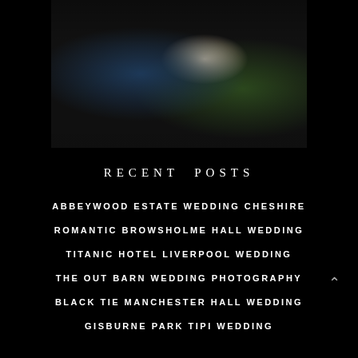[Figure (photo): Wedding photo showing a couple walking together in a dark venue setting with floral decorations. The groom wears a navy/dark blue suit and the bride wears a white flowing dress. Greenery and white flowers visible in the background.]
RECENT POSTS
ABBEYWOOD ESTATE WEDDING CHESHIRE
ROMANTIC BROWSHOLME HALL WEDDING
TITANIC HOTEL LIVERPOOL WEDDING
THE OUT BARN WEDDING PHOTOGRAPHY
BLACK TIE MANCHESTER HALL WEDDING
GISBURNE PARK TIPI WEDDING